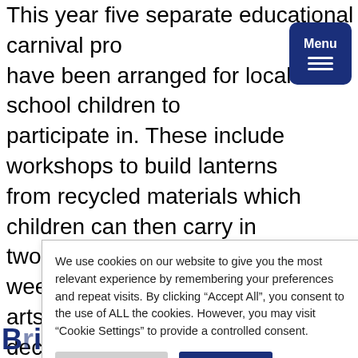This year five separate educational carnival programs have been arranged for local school children to participate in. These include workshops to build lanterns from recycled materials which children can then carry in two lantern parades over carnival weekend, a visual arts project where children can decorate carnival m... lding poets and w... n has been sp... a design and bu... and a ch... he town centre or...
[Figure (other): Dark blue Menu button with hamburger icon in top right corner]
We use cookies on our website to give you the most relevant experience by remembering your preferences and repeat visits. By clicking "Accept All", you consent to the use of ALL the cookies. However, you may visit "Cookie Settings" to provide a controlled consent.
Th... ll being finalised,
Bridgwater Carnival returns for 2022